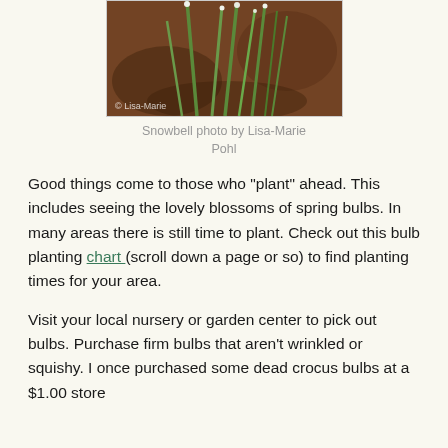[Figure (photo): Close-up photograph of snowbell plant with thin green stems and small white flowers against a brown background. Photo credited to Lisa-Marie.]
Snowbell photo by Lisa-Marie Pohl
Good things come to those who “plant” ahead. This includes seeing the lovely blossoms of spring bulbs. In many areas there is still time to plant. Check out this bulb planting chart (scroll down a page or so) to find planting times for your area.
Visit your local nursery or garden center to pick out bulbs. Purchase firm bulbs that aren’t wrinkled or squishy. I once purchased some dead crocus bulbs at a $1.00 store